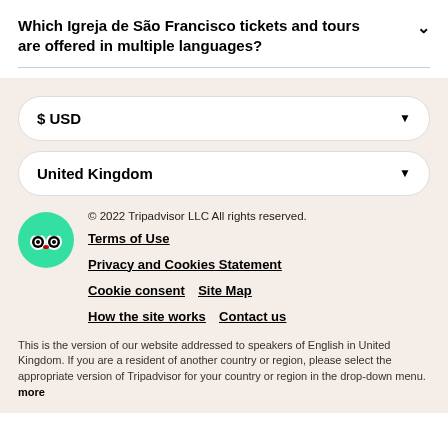Which Igreja de São Francisco tickets and tours are offered in multiple languages?
$ USD
United Kingdom
© 2022 Tripadvisor LLC All rights reserved.
Terms of Use
Privacy and Cookies Statement
Cookie consent   Site Map
How the site works   Contact us
This is the version of our website addressed to speakers of English in United Kingdom. If you are a resident of another country or region, please select the appropriate version of Tripadvisor for your country or region in the drop-down menu. more